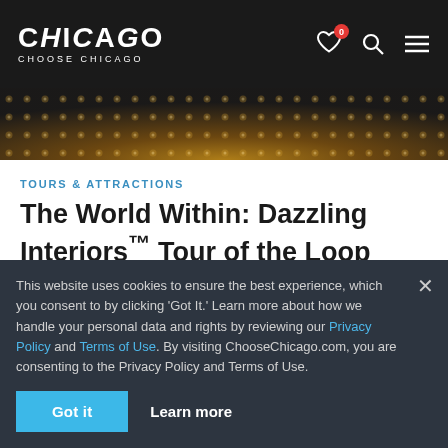CHICAGO CHOOSE CHICAGO
[Figure (photo): Ornate interior ceiling detail with mosaic or stained glass pattern, dark golden tones]
TOURS & ATTRACTIONS
The World Within: Dazzling Interiors™ Tour of the Loop
Everyone does a boat tour when they visit Chicago. But as fun as that is, it's a very tiny sliver of what Chicago has to...
Event details
This website uses cookies to ensure the best experience, which you consent to by clicking 'Got It.' Learn more about how we handle your personal data and rights by reviewing our Privacy Policy and Terms of Use. By visiting ChooseChicago.com, you are consenting to the Privacy Policy and Terms of Use.
Got it   Learn more